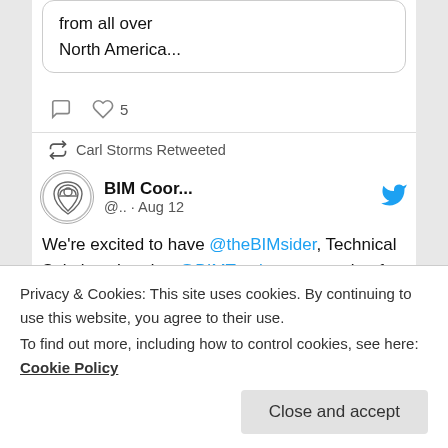from all over North America...
❤ 5
Carl Storms Retweeted
BIM Coor... @.. · Aug 12
We're excited to have @theBIMsider, Technical Solutions Lead at @BIMTrack, as a speaker for
#ArcniStars #Engineering #Construction
Privacy & Cookies: This site uses cookies. By continuing to use this website, you agree to their use.
To find out more, including how to control cookies, see here: Cookie Policy
Close and accept